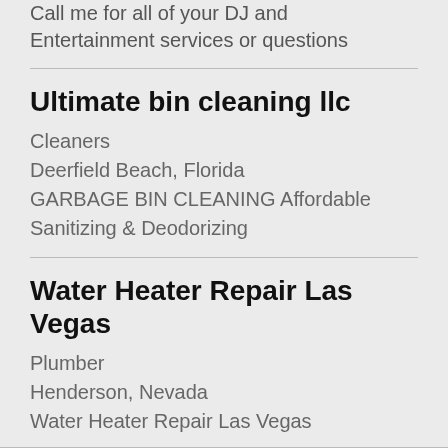Call me for all of your DJ and Entertainment services or questions
Ultimate bin cleaning llc
Cleaners
Deerfield Beach, Florida
GARBAGE BIN CLEANING Affordable Sanitizing & Deodorizing
Water Heater Repair Las Vegas
Plumber
Henderson, Nevada
Water Heater Repair Las Vegas